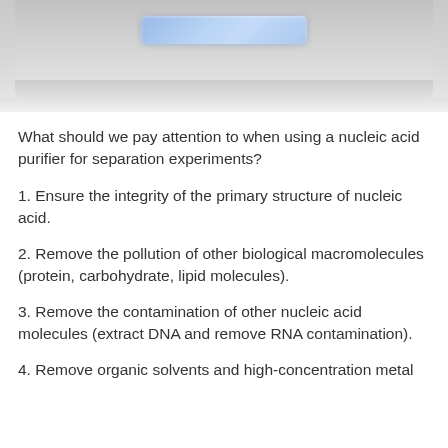[Figure (photo): Photograph of a nucleic acid purifier instrument, showing the top portion of a white/grey device with a blue-lit display screen]
What should we pay attention to when using a nucleic acid purifier for separation experiments?
1. Ensure the integrity of the primary structure of nucleic acid.
2. Remove the pollution of other biological macromolecules (protein, carbohydrate, lipid molecules).
3. Remove the contamination of other nucleic acid molecules (extract DNA and remove RNA contamination).
4. Remove organic solvents and high-concentration metal